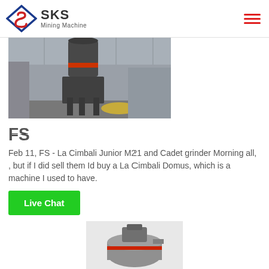SKS Mining Machine
[Figure (photo): Industrial grinding/milling machine in a large factory warehouse setting, viewed from front-low angle. Machine is dark gray with orange/red accents, mounted on a support frame on a concrete floor.]
FS
Feb 11, FS - La Cimbali Junior M21 and Cadet grinder Morning all, , but if I did sell them Id buy a La Cimbali Domus, which is a machine I used to have.
Live Chat
[Figure (photo): Partial view of another industrial machine at the bottom of the page, showing a round tank/vessel with motor on top, with red accents.]